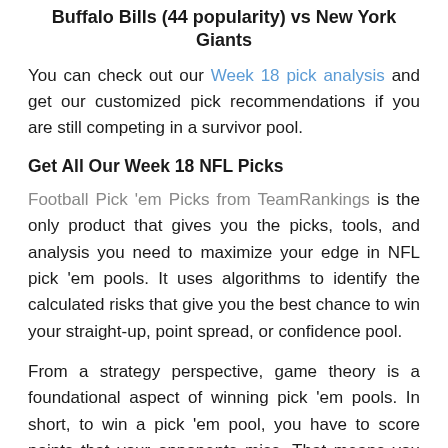Buffalo Bills (44 popularity) vs New York Giants
You can check out our Week 18 pick analysis and get our customized pick recommendations if you are still competing in a survivor pool.
Get All Our Week 18 NFL Picks
Football Pick 'em Picks from TeamRankings is the only product that gives you the picks, tools, and analysis you need to maximize your edge in NFL pick 'em pools. It uses algorithms to identify the calculated risks that give you the best chance to win your straight-up, point spread, or confidence pool.
From a strategy perspective, game theory is a foundational aspect of winning pick 'em pools. In short, to win a pick 'em pool, you have to score points that your opponents miss. That means you need to identify unpopular picks